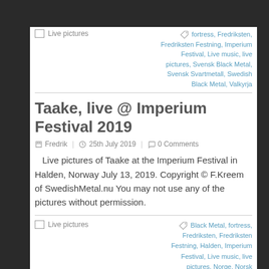Live pictures
fortress, Fredriksten, Fredriksten Festning, Imperium Festival, Live music, live pictures, Svensk Black Metal, Svensk Svartmetall, Swedish Black Metal, Valkyrja
Taake, live @ Imperium Festival 2019
Fredrik | 25th July 2019 | 0 Comments
Live pictures of Taake at the Imperium Festival in Halden, Norway July 13, 2019. Copyright © F.Kreem of SwedishMetal.nu You may not use any of the pictures without permission.
Live pictures
Black Metal, fortress, Fredriksten, Fredriksten Festning, Halden, Imperium Festival, Live music, live pictures, Norge, Norsk Svartmetall, Norwegian Black...